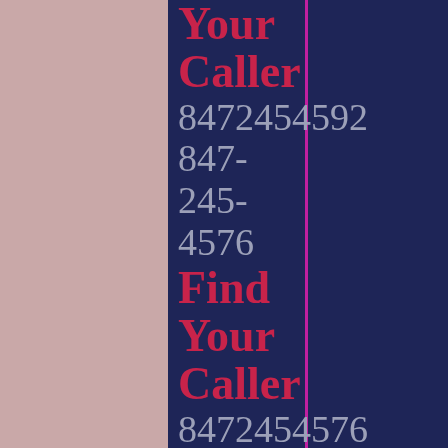Your Caller 8472454592 847-245-4576 Find Your Caller 8472454576 847-245-4561 Find Your Caller